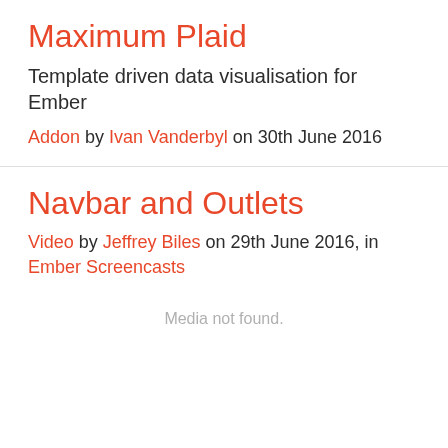Maximum Plaid
Template driven data visualisation for Ember
Addon by Ivan Vanderbyl on 30th June 2016
Navbar and Outlets
Video by Jeffrey Biles on 29th June 2016, in Ember Screencasts
Media not found.